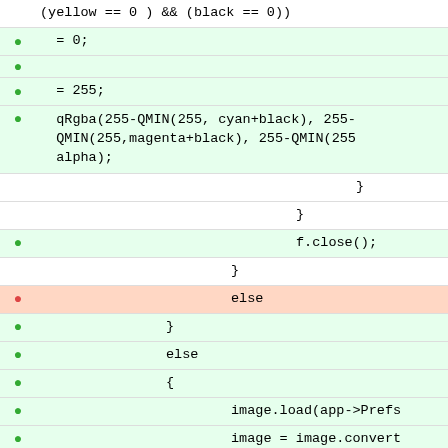Code diff view showing C++ source code with added (green) and removed (red) lines
(yellow == 0 ) && (black == 0))
= 0;
= 255;
qRgba(255-QMIN(255, cyan+black), 255-QMIN(255,magenta+black), 255-QMIN(255, alpha);
}
}
f.close();
}
else
}
else
{
image.load(app->Prefs
image = image.convert
if (AliasTr->isChecke
{
image.load(ap>PrefsPfad+"/sc.png");